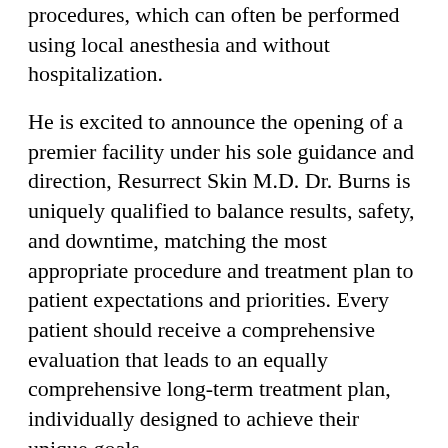procedures, which can often be performed using local anesthesia and without hospitalization.
He is excited to announce the opening of a premier facility under his sole guidance and direction, Resurrect Skin M.D. Dr. Burns is uniquely qualified to balance results, safety, and downtime, matching the most appropriate procedure and treatment plan to patient expectations and priorities. Every patient should receive a comprehensive evaluation that leads to an equally comprehensive long-term treatment plan, individually designed to achieve their unique goals.
Dr. Burns believes clarity of purpose is the most important characteristic of a successful business and a successful life. He measures business success